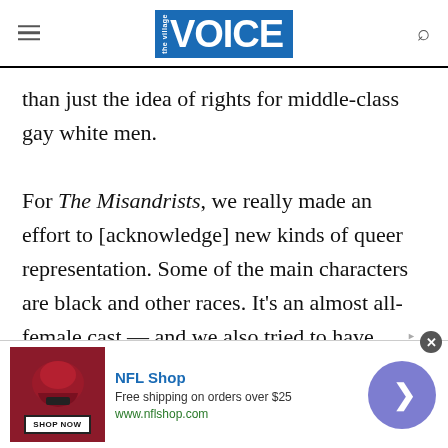the Village VOICE
than just the idea of rights for middle-class gay white men.

For The Misandrists, we really made an effort to [acknowledge] new kinds of queer representation. Some of the main characters are black and other races. It's an almost all-female cast — and we also tried to have behind-the-scenes people to be women as well. The music is by one of the sound editors [Manuela Schininá]. We were really trying for new
[Figure (other): NFL Shop advertisement banner with logo, helmet image, 'Free shipping on orders over $25', www.nflshop.com, Shop Now button, and navigation arrow]